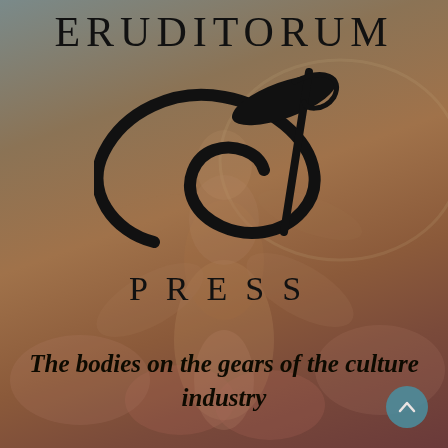ERUDITORUM
[Figure (logo): Eruditorum Press stylized 'EP' cursive logo in black]
PRESS
The bodies on the gears of the culture industry